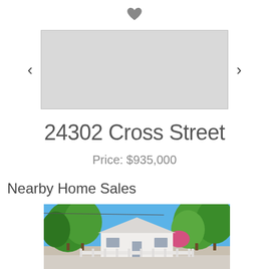[Figure (other): Heart/favorite icon at top center of page]
[Figure (other): Image carousel placeholder with left and right navigation arrows (<  >) and a gray rectangular image placeholder in the center]
24302 Cross Street
Price: $935,000
Nearby Home Sales
[Figure (photo): Photo of a small white single-story house with a white fence in front, surrounded by large green trees, with a clear blue sky, representing a nearby home sale listing.]